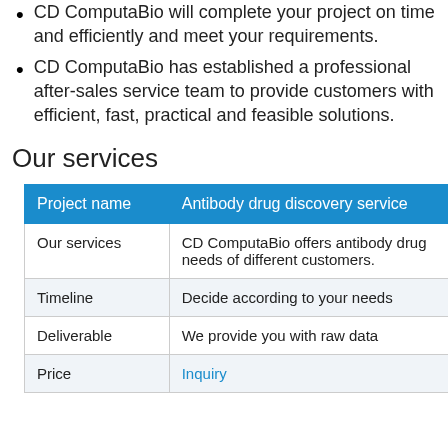CD ComputaBio will complete your project on time and efficiently and meet your requirements.
CD ComputaBio has established a professional after-sales service team to provide customers with efficient, fast, practical and feasible solutions.
Our services
| Project name | Antibody drug discovery service |
| --- | --- |
| Our services | CD ComputaBio offers antibody drug needs of different customers. |
| Timeline | Decide according to your needs |
| Deliverable | We provide you with raw data |
| Price | Inquiry |